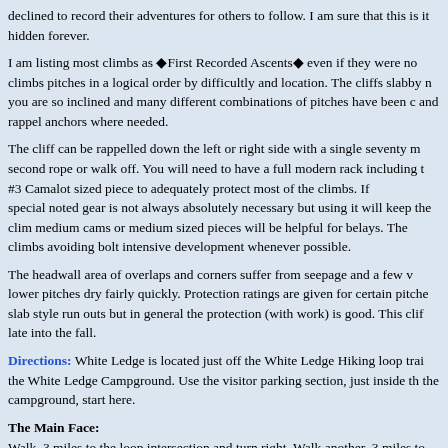declined to record their adventures for others to follow. I am sure that this is it hidden forever.
I am listing most climbs as âFirst Recorded Ascentsâ even if they were no climbs pitches in a logical order by difficultly and location. The cliffs slabby n you are so inclined and many different combinations of pitches have been c and rappel anchors where needed.
The cliff can be rappelled down the left or right side with a single seventy m second rope or walk off. You will need to have a full modern rack including t #3 Camalot sized piece to adequately protect most of the climbs. If special noted gear is not always absolutely necessary but using it will keep the clim medium cams or medium sized pieces will be helpful for belays. The climbs avoiding bolt intensive development whenever possible.
The headwall area of overlaps and corners suffer from seepage and a few v lower pitches dry fairly quickly. Protection ratings are given for certain pitche slab style run outs but in general the protection (with work) is good. This clif late into the fall.
Directions: White Ledge is located just off the White Ledge Hiking loop trai the White Ledge Campground. Use the visitor parking section, just inside th the campground, start here.
The Main Face:
Walk .3 miles to the loop intersection and turn right. Walk another .3 miles to proper. (Right takes you back to Rt. 16) Walk a little less than a mile up the Continue downhill 5 minutes or so and you will come to an 18â natural gra yellow trail marker is on a large dying tree 15 feet ahead on right. Walk a fe trail slanting slightly right 400 to 500 feet till a house sized boulder with a co 100 feet or so on the trail and then follow the next drainage uphill to the bo